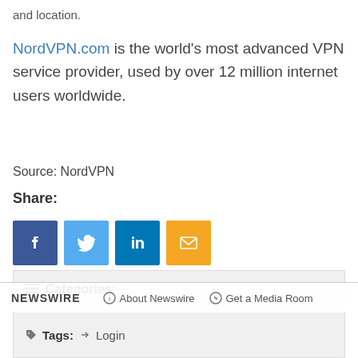and location.
NordVPN.com is the world's most advanced VPN service provider, used by over 12 million internet users worldwide.
Source: NordVPN
Share:
[Figure (infographic): Social share buttons: Facebook (blue), Twitter (light blue), LinkedIn (dark blue), Email (yellow/orange)]
☰ Categories:
Affirmative Action and Equal Rights
NEWSWIRE   ⓘ About Newswire   ⊙ Get a Media Room
🏷 Tags: ➡ Login